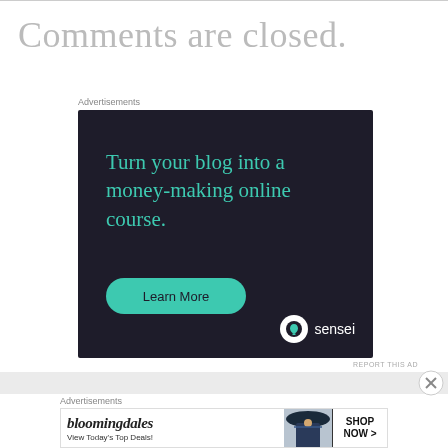Comments are closed.
Advertisements
[Figure (illustration): Sensei advertisement: dark background with teal text 'Turn your blog into a money-making online course.' with a 'Learn More' teal button and Sensei logo.]
REPORT THIS AD
Advertisements
[Figure (illustration): Bloomingdales advertisement: 'bloomingdales View Today's Top Deals!' with a woman in a hat and 'SHOP NOW >' button.]